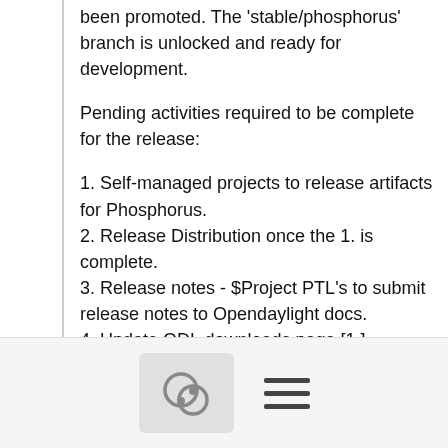been promoted. The 'stable/phosphorus' branch is unlocked and ready for development.
Pending activities required to be complete for the release:
1. Self-managed projects to release artifacts for Phosphorus.
2. Release Distribution once the 1. is complete.
3. Release notes - $Project PTL's to submit release notes to Opendaylight docs.
4. Update ODL downloads page [1.].
Many thanks to everyone who contributed to the Phosphorus release.
Regards,
Anil Belur
[Figure (other): Bottom navigation bar with comment bubble icon and hamburger menu icon]